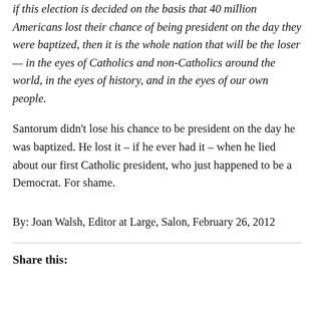if this election is decided on the basis that 40 million Americans lost their chance of being president on the day they were baptized, then it is the whole nation that will be the loser — in the eyes of Catholics and non-Catholics around the world, in the eyes of history, and in the eyes of our own people.
Santorum didn't lose his chance to be president on the day he was baptized. He lost it – if he ever had it – when he lied about our first Catholic president, who just happened to be a Democrat. For shame.
By: Joan Walsh, Editor at Large, Salon, February 26, 2012
Share this: